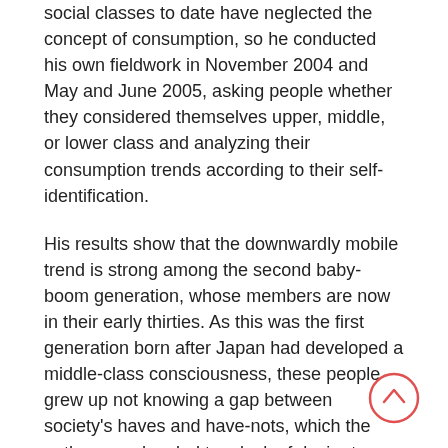social classes to date have neglected the concept of consumption, so he conducted his own fieldwork in November 2004 and May and June 2005, asking people whether they considered themselves upper, middle, or lower class and analyzing their consumption trends according to their self-identification.
His results show that the downwardly mobile trend is strong among the second baby-boom generation, whose members are now in their early thirties. As this was the first generation born after Japan had developed a middle-class consciousness, these people grew up not knowing a gap between society's haves and have-nots, which the author says has led to a lack of desire to improve their station. This book will become an important source of data for understanding contemporary Japanese society.
Author's Information
Atsushi Miura (1958–) earned a degree in social sciences Hitotsubashi University. He served as editor-in-chief of the